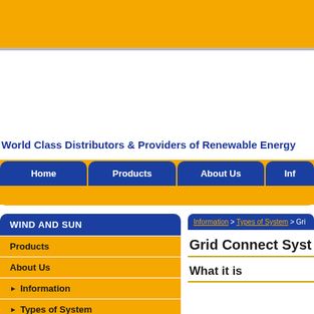[Figure (other): Top gold banner header area of website]
World Class Distributors & Providers of Renewable Energy
Home | Products | About Us | Inf...
WIND AND SUN
Products
About Us
▶ Information
▶ Types of System
▶ Grid Connect System
Information > Types of System > Gri...
Grid Connect Syst...
What it is